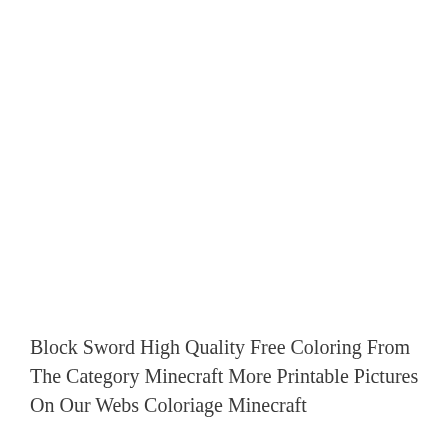Block Sword High Quality Free Coloring From The Category Minecraft More Printable Pictures On Our Webs Coloriage Minecraft